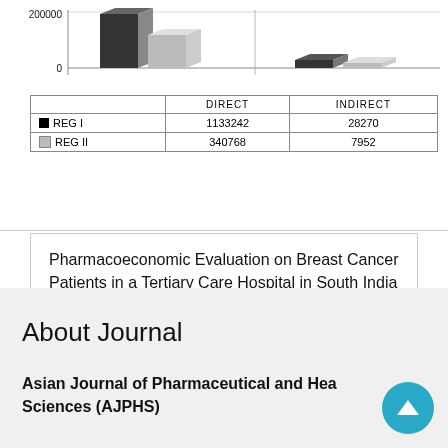[Figure (grouped-bar-chart): Direct and Indirect costs by Regiment]
|  | DIRECT | INDIRECT |
| --- | --- | --- |
| REG I | 1133242 | 28270 |
| REG II | 340768 | 7952 |
Pharmacoeconomic Evaluation on Breast Cancer Patients in a Tertiary Care Hospital in South India
About Journal
Asian Journal of Pharmaceutical and Health Sciences (AJPHS)